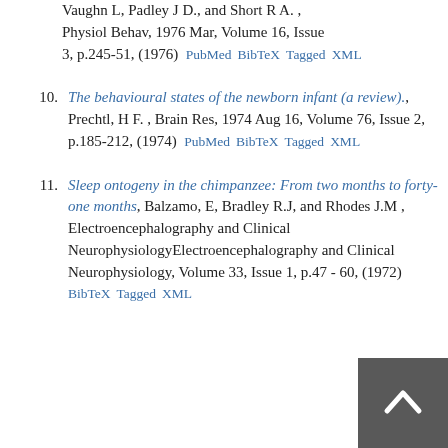Vaughn L, Padley J D., and Short R A. , Physiol Behav, 1976 Mar, Volume 16, Issue 3, p.245-51, (1976) PubMed BibTeX Tagged XML
10. The behavioural states of the newborn infant (a review)., Prechtl, H F. , Brain Res, 1974 Aug 16, Volume 76, Issue 2, p.185-212, (1974) PubMed BibTeX Tagged XML
11. Sleep ontogeny in the chimpanzee: From two months to forty-one months, Balzamo, E, Bradley R.J, and Rhodes J.M , Electroencephalography and Clinical NeurophysiologyElectroencephalography and Clinical Neurophysiology, Volume 33, Issue 1, p.47 - 60, (1972) BibTeX Tagged XML